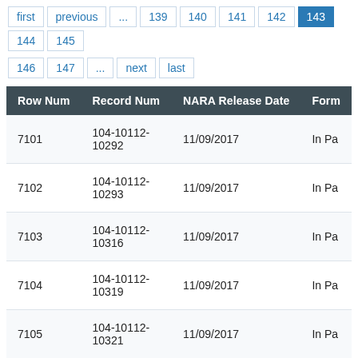first previous ... 139 140 141 142 143 144 145
146 147 ... next last
| Row Num | Record Num | NARA Release Date | Form |
| --- | --- | --- | --- |
| 7101 | 104-10112-10292 | 11/09/2017 | In Pa |
| 7102 | 104-10112-10293 | 11/09/2017 | In Pa |
| 7103 | 104-10112-10316 | 11/09/2017 | In Pa |
| 7104 | 104-10112-10319 | 11/09/2017 | In Pa |
| 7105 | 104-10112-10321 | 11/09/2017 | In Pa |
| 7106 | 104-10112-10323 | 11/09/2017 | In Pa |
| 7107 | 104-10112-10327 | 11/09/2017 | In Pa |